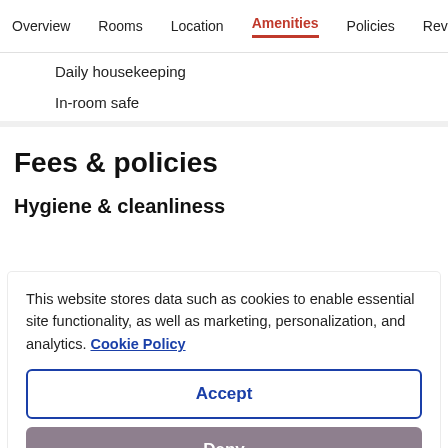Overview  Rooms  Location  Amenities  Policies  Reviews
Daily housekeeping
In-room safe
Fees & policies
Hygiene & cleanliness
This website stores data such as cookies to enable essential site functionality, as well as marketing, personalization, and analytics. Cookie Policy
Accept
Deny